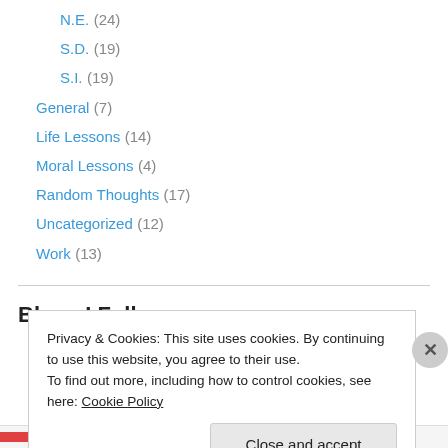N.E. (24)
S.D. (19)
S.I. (19)
General (7)
Life Lessons (14)
Moral Lessons (4)
Random Thoughts (17)
Uncategorized (12)
Work (13)
Blogs I Follow
Faith4TheJourney
Privacy & Cookies: This site uses cookies. By continuing to use this website, you agree to their use.
To find out more, including how to control cookies, see here: Cookie Policy